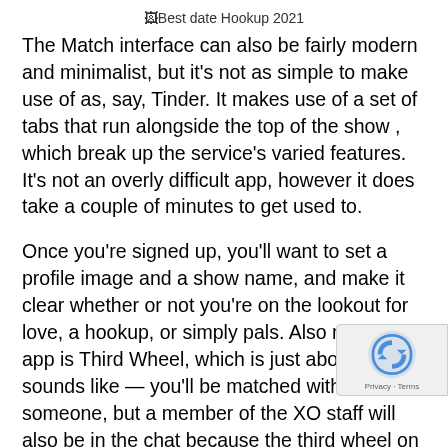[Figure (other): Broken image placeholder with alt text 'Best date Hookup 2021']
The Match interface can also be fairly modern and minimalist, but it's not as simple to make use of as, say, Tinder. It makes use of a set of tabs that run alongside the top of the show , which break up the service's varied features. It's not an overly difficult app, however it does take a couple of minutes to get used to.
Once you're signed up, you'll want to set a profile image and a show name, and make it clear whether or not you're on the lookout for love, a hookup, or simply pals. Also new to the app is Third Wheel, which is just about what it sounds like — you'll be matched with someone, but a member of the XO staff will also be in the chat because the third wheel on your date! They'll perk up your dialog if it gets stale, assist out with topics asian singles sacramento, and play group games with you that can assist you get to know other. If you've joined the app with a pal who's additionally take a look at the new Double Date feature which helps you to hunt